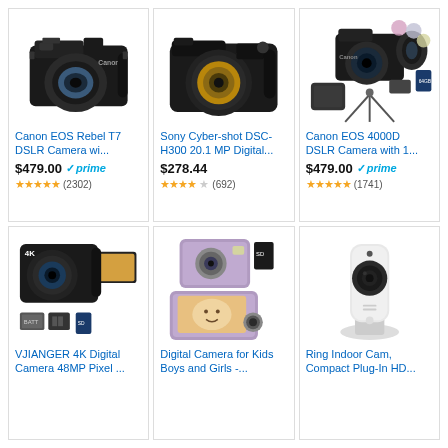[Figure (photo): Canon EOS Rebel T7 DSLR Camera with lens]
Canon EOS Rebel T7 DSLR Camera wi...
$479.00 prime
★★★★★ (2302)
[Figure (photo): Sony Cyber-shot DSC-H300 compact camera]
Sony Cyber-shot DSC-H300 20.1 MP Digital...
$278.44
★★★★☆ (692)
[Figure (photo): Canon EOS 4000D DSLR Camera with accessories bundle]
Canon EOS 4000D DSLR Camera with 1...
$479.00 prime
★★★★★ (1741)
[Figure (photo): VJIANGER 4K Digital Camera 48MP with accessories]
VJIANGER 4K Digital Camera 48MP Pixel ...
[Figure (photo): Digital Camera for Kids in purple]
Digital Camera for Kids Boys and Girls -...
[Figure (photo): Ring Indoor Cam Compact Plug-In HD security camera]
Ring Indoor Cam, Compact Plug-In HD...